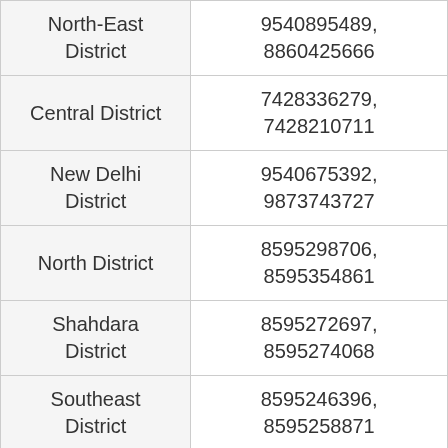| North-East District | 9540895489,
8860425666 |
| Central District | 7428336279,
7428210711 |
| New Delhi District | 9540675392,
9873743727 |
| North District | 8595298706,
8595354861 |
| Shahdara District | 8595272697,
8595274068 |
| Southeast District | 8595246396,
8595258871 |
| West District | 9414320064,
8595252581 |